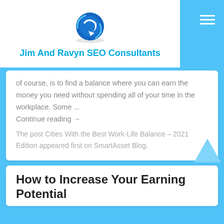[Figure (logo): Jim And Ravyn SEO Consultants logo with blue circular arrow icon]
Jim And Ravyn SEO Consultants
[Figure (other): Hamburger menu icon (three horizontal lines) in white on blue background]
of course, is to find a balance where you can earn the money you need without spending all of your time in the workplace. Some ... Continue reading →
The post Cities With the Best Work-Life Balance – 2021 Edition appeared first on SmartAsset Blog.
How to Increase Your Earning Potential